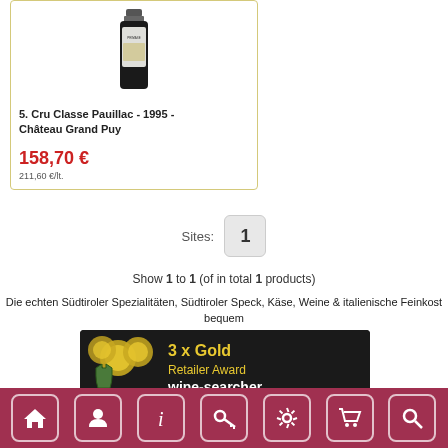[Figure (photo): Wine bottle image for 5. Cru Classe Pauillac 1995 Château Grand Puy]
5. Cru Classe Pauillac - 1995 - Château Grand Puy
158,70 €
211,60 €/lt.
Sites: 1
Show 1 to 1 (of in total 1 products)
Die echten Südtiroler Spezialitäten, Südtiroler Speck, Käse, Weine & italienische Feinkost bequem von zu Hause aus bestellen!
[Figure (logo): 3 x Gold Retailer Award wine-searcher banner]
[Figure (other): Google Translate Select Language widget]
Navigation footer with home, user, info, key, settings, cart, search icons